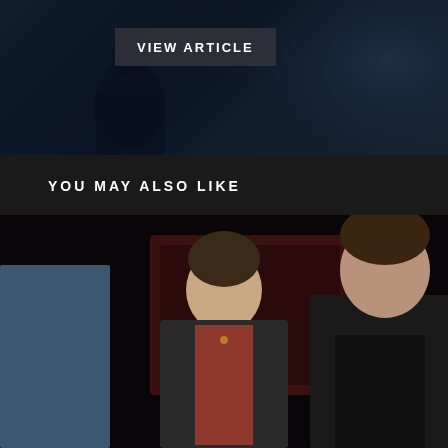[Figure (photo): Dark blue-toned photograph of a silhouetted musician or performer with a 'VIEW ARTICLE' button overlay. Bokeh lights visible on the right side.]
YOU MAY ALSO LIKE
[Figure (photo): Dark photograph of three men standing together. The man in the center wears a dark denim jacket over a floral/patterned shirt with a necklace. The man on the right wears a black leather jacket. The man on the left partially visible in a light blue denim jacket. Background is dark reddish with a sign partially visible.]